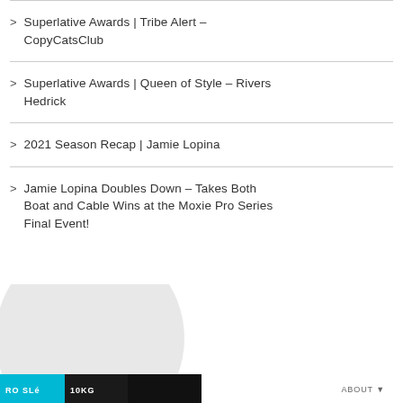Superlative Awards | Tribe Alert – CopyCatsClub
Superlative Awards | Queen of Style – Rivers Hedrick
2021 Season Recap | Jamie Lopina
Jamie Lopina Doubles Down – Takes Both Boat and Cable Wins at the Moxie Pro Series Final Event!
[Figure (logo): Circular grey placeholder avatar/profile image with a logo bar at the bottom containing cyan and dark logo elements]